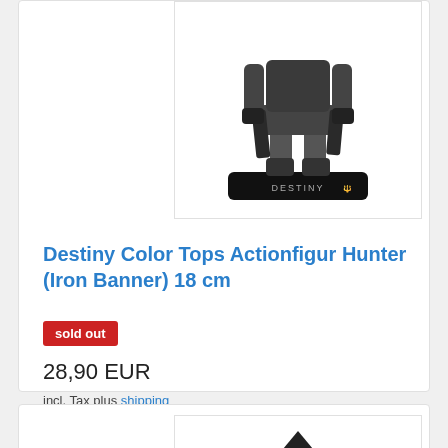[Figure (photo): Destiny Hunter Iron Banner action figure, 18cm, standing on a black DESTINY branded base, partial view showing lower body and base]
Destiny Color Tops Actionfigur Hunter (Iron Banner) 18 cm
sold out
28,90 EUR
incl. Tax plus shipping
[Figure (photo): Destiny Titan action figure in dark armored suit with helmet, partially visible, product listing image]